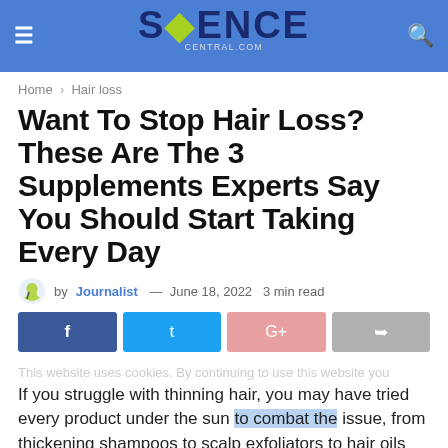SCIENCE CENTRAL.COM
Home > Hair loss
Want To Stop Hair Loss? These Are The 3 Supplements Experts Say You Should Start Taking Every Day
by Journalist — June 18, 2022  3 min read
[Figure (other): Social share buttons: Facebook, Twitter, Google+, Share]
This website uses cookies. By continuing to use this website you
If you struggle with thinning hair, you may have tried every product under the sun to combat the issue, from thickening shampoos to scalp exfoliators to hair oils